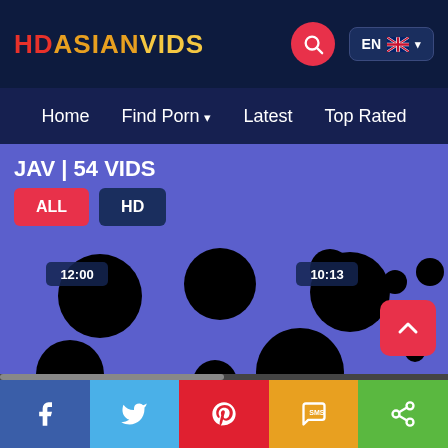HDASIANVIDS
Home  Find Porn  Latest  Top Rated
JAV | 54 VIDS
ALL
HD
[Figure (screenshot): Video grid with censored thumbnails shown as black circles on blue background. Time badges showing 12:00 and 10:13 visible.]
Facebook  Twitter  Pinterest  SMS  Share